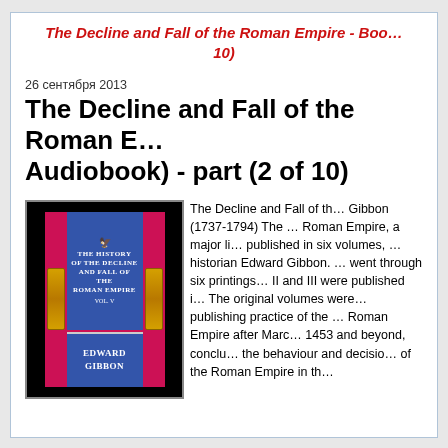The Decline and Fall of the Roman Empire - Book Audiobook) - part (2 of 10)
26 сентября 2013
The Decline and Fall of the Roman Empire Audiobook) - part (2 of 10)
[Figure (photo): Book cover of The History of the Decline and Fall of the Roman Empire by Edward Gibbon, Vol. 5, blue and red cover with gold ornaments]
The Decline and Fall of the Roman Empire by Gibbon (1737-1794) The History of the Decline and Fall of the Roman Empire, a major literary achievement of the 18th century, published in six volumes, was written by the English historian Edward Gibbon. Volume I was published in 1776 and went through six printings. Volumes II and III were published in 1781; volumes IV, V and VI in 1788-1789. The original volumes were published in quarto sets, the typical publishing practice of the time. The work covers the history of the Roman Empire after Marcus Aurelius, the Fall of Rome in 1453 and beyond, concluding in 1590. Gibbon studies the behaviour and decisions that led the citizens and rulers of the Roman Empire in their own destruction.